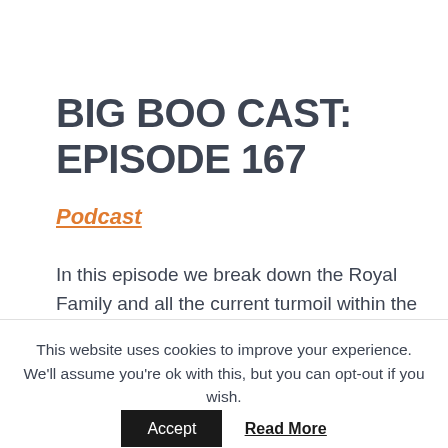BIG BOO CAST: EPISODE 167
Podcast
In this episode we break down the Royal Family and all the current turmoil within the walls of Buckingham Palace. I have some thoughts. We also discuss Cheer on Netflix
This website uses cookies to improve your experience. We'll assume you're ok with this, but you can opt-out if you wish.
Accept   Read More